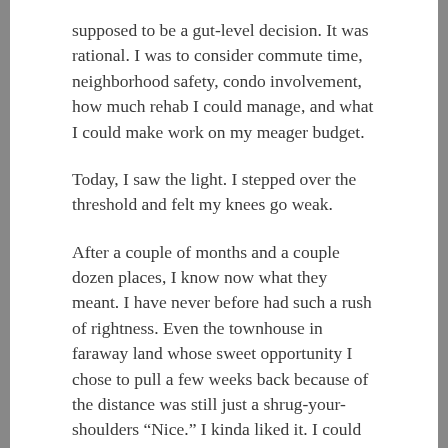supposed to be a gut-level decision. It was rational. I was to consider commute time, neighborhood safety, condo involvement, how much rehab I could manage, and what I could make work on my meager budget.
Today, I saw the light. I stepped over the threshold and felt my knees go weak.
After a couple of months and a couple dozen places, I know now what they meant. I have never before had such a rush of rightness. Even the townhouse in faraway land whose sweet opportunity I chose to pull a few weeks back because of the distance was still just a shrug-your-shoulders “Nice.” I kinda liked it. I could have made it a homey place. I had a warm feeling about it, sort of like having a pleasant conversation with a stranger at a bar and maybe being happy to see him there again next time, but never really wanting to give him your number.